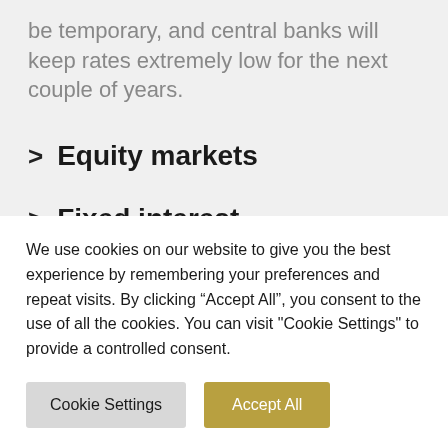be temporary, and central banks will keep rates extremely low for the next couple of years.
Equity markets
Fixed interest
Commercial property
We use cookies on our website to give you the best experience by remembering your preferences and repeat visits. By clicking “Accept All”, you consent to the use of all the cookies. You can visit "Cookie Settings" to provide a controlled consent.